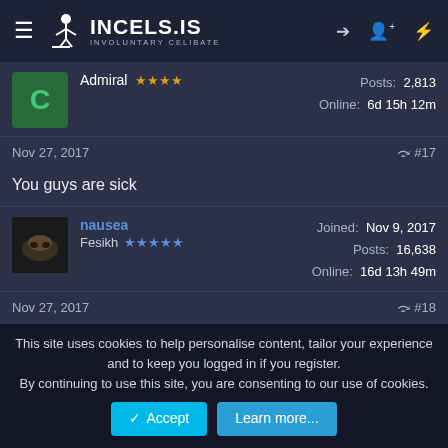INCELS.IS INVOLUNTARY CELIBATE
Admiral ★★★★  Posts: 2,813  Online: 6d 15h 12m
Nov 27, 2017  #17
You guys are sick
nausea  Fesikh ★★★★★  Joined: Nov 9, 2017  Posts: 16,638  Online: 16d 13h 49m
Nov 27, 2017  #18
would bang, even if she was not so hot
This site uses cookies to help personalise content, tailor your experience and to keep you logged in if you register. By continuing to use this site, you are consenting to our use of cookies.